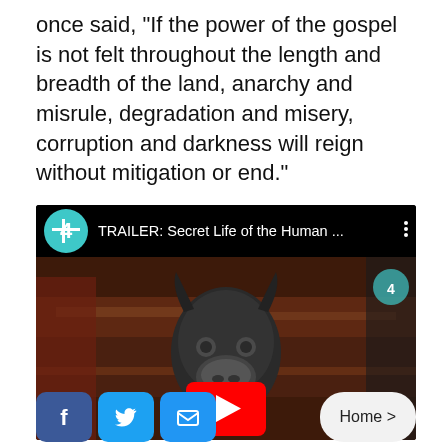once said, "If the power of the gospel is not felt throughout the length and breadth of the land, anarchy and misrule, degradation and misery, corruption and darkness will reign without mitigation or end."
[Figure (screenshot): An embedded YouTube video thumbnail showing a person wearing a black leather animal mask in what appears to be an indoor setting. The video is titled 'TRAILER: Secret Life of the Human ...' on the Channel 4 YouTube channel. A red YouTube play button overlay is visible in the center.]
[Figure (other): Social sharing bar with Facebook (blue 'f'), Twitter (blue bird), and email (blue envelope) icon buttons, plus a 'Home >' navigation button on the right.]